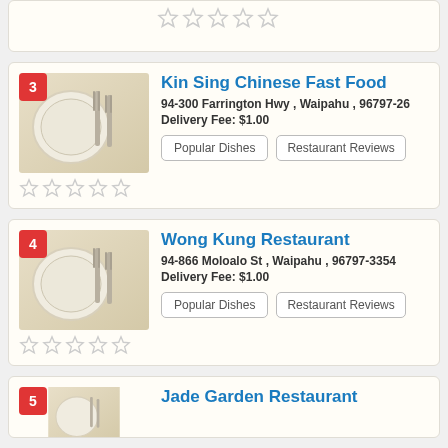[Figure (photo): Partial restaurant listing card at top, showing star rating row (5 empty stars)]
3 - Kin Sing Chinese Fast Food, 94-300 Farrington Hwy , Waipahu , 96797-26, Delivery Fee: $1.00
[Figure (photo): Restaurant listing image showing plate with forks on beige background for Kin Sing]
4 - Wong Kung Restaurant, 94-866 Moloalo St , Waipahu , 96797-3354, Delivery Fee: $1.00
[Figure (photo): Restaurant listing image showing plate with forks on beige background for Wong Kung]
5 - Jade Garden Restaurant